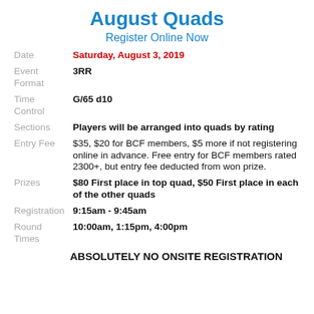August Quads
Register Online Now
| Field | Value |
| --- | --- |
| Date | Saturday, August 3, 2019 |
| Event Format | 3RR |
| Time Control | G/65 d10 |
| Sections | Players will be arranged into quads by rating |
| Entry Fee | $35, $20 for BCF members, $5 more if not registering online in advance. Free entry for BCF members rated 2300+, but entry fee deducted from won prize. |
| Prizes | $80 First place in top quad, $50 First place in each of the other quads |
| Registration | 9:15am - 9:45am |
| Round Times | 10:00am, 1:15pm, 4:00pm |
ABSOLUTELY NO ONSITE REGISTRATION